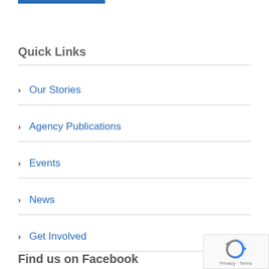[Figure (other): Blue horizontal bar at top of page]
Quick Links
Our Stories
Agency Publications
Events
News
Get Involved
Find us on Facebook
[Figure (other): reCAPTCHA badge with Privacy and Terms links]